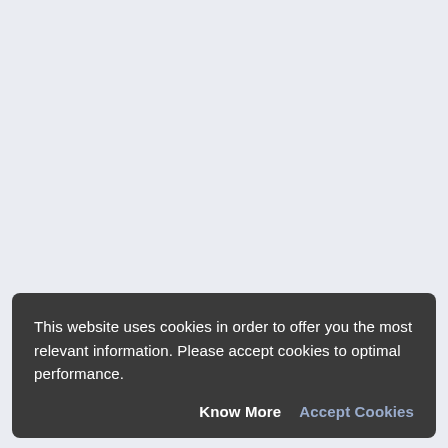This website uses cookies in order to offer you the most relevant information. Please accept cookies to optimal performance.
Know More  Accept Cookies